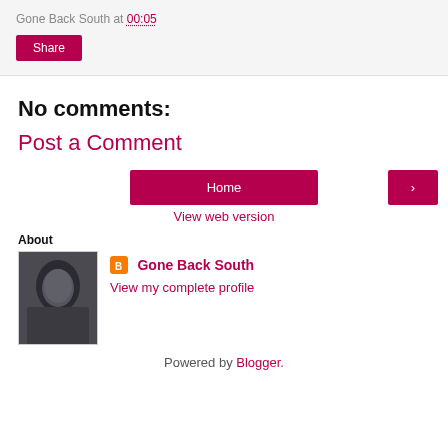Gone Back South at 00:05
Share
No comments:
Post a Comment
Home
>
View web version
About
[Figure (photo): Profile photo of Gone Back South blogger]
Gone Back South
View my complete profile
Powered by Blogger.